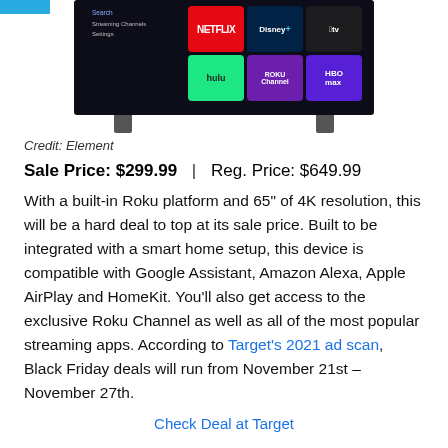[Figure (photo): A smart TV displaying Roku streaming interface with Netflix, Disney+, Apple TV, Hulu, Roku Channel, and HBO Max app tiles on a dark background]
Credit: Element
Sale Price: $299.99 | Reg. Price: $649.99
With a built-in Roku platform and 65" of 4K resolution, this will be a hard deal to top at its sale price. Built to be integrated with a smart home setup, this device is compatible with Google Assistant, Amazon Alexa, Apple AirPlay and HomeKit. You'll also get access to the exclusive Roku Channel as well as all of the most popular streaming apps. According to Target's 2021 ad scan, Black Friday deals will run from November 21st – November 27th.
Check Deal at Target